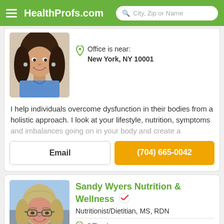HealthProfs.com  City, Zip or Name
[Figure (photo): Partial photo of a smiling woman with long dark hair wearing a blue top]
Office is near:
New York, NY 10001
I help individuals overcome dysfunction in their bodies from a holistic approach. I look at your lifestyle, nutrition, symptoms and imbalances going on in your body and create a
Email
(704) 665-0042
[Figure (photo): Photo of a smiling middle-aged woman with curly blonde hair wearing glasses and a white cardigan]
Sandy Wyers Nutrition & Wellness
Nutritionist/Dietitian, MS, RDN
Office is near:
New York, NY 10001